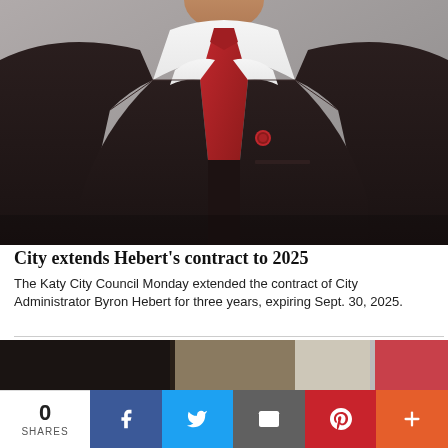[Figure (photo): Professional headshot of a man in a dark suit with a red tie and a lapel pin, photographed against a grey background. The photo is cropped from the shoulders up, showing no face.]
City extends Hebert’s contract to 2025
The Katy City Council Monday extended the contract of City Administrator Byron Hebert for three years, expiring Sept. 30, 2025.
[Figure (photo): Partial strip of a second photo showing dark, brown, and red blurred sections, likely a second news story image.]